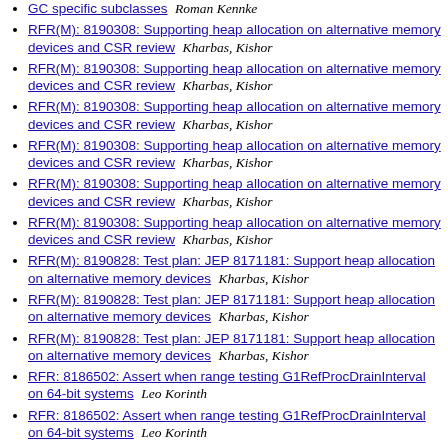GC specific subclasses  Roman Kennke
RFR(M): 8190308: Supporting heap allocation on alternative memory devices and CSR review  Kharbas, Kishor
RFR(M): 8190308: Supporting heap allocation on alternative memory devices and CSR review  Kharbas, Kishor
RFR(M): 8190308: Supporting heap allocation on alternative memory devices and CSR review  Kharbas, Kishor
RFR(M): 8190308: Supporting heap allocation on alternative memory devices and CSR review  Kharbas, Kishor
RFR(M): 8190308: Supporting heap allocation on alternative memory devices and CSR review  Kharbas, Kishor
RFR(M): 8190308: Supporting heap allocation on alternative memory devices and CSR review  Kharbas, Kishor
RFR(M): 8190828: Test plan: JEP 8171181: Support heap allocation on alternative memory devices  Kharbas, Kishor
RFR(M): 8190828: Test plan: JEP 8171181: Support heap allocation on alternative memory devices  Kharbas, Kishor
RFR(M): 8190828: Test plan: JEP 8171181: Support heap allocation on alternative memory devices  Kharbas, Kishor
RFR: 8186502: Assert when range testing G1RefProcDrainInterval on 64-bit systems  Leo Korinth
RFR: 8186502: Assert when range testing G1RefProcDrainInterval on 64-bit systems  Leo Korinth
RFR: 8190408: Run G1CMRemarkTask with the appropriate amount of threads instead of starting up everyone  Leo